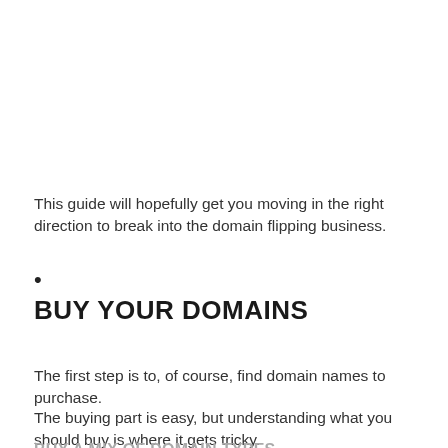This guide will hopefully get you moving in the right direction to break into the domain flipping business.
•
BUY YOUR DOMAINS
The first step is to, of course, find domain names to purchase.
The buying part is easy, but understanding what you should buy is where it gets tricky.
BUY A MIX OF DOMAIN TYPES
You've heard of the stock market.